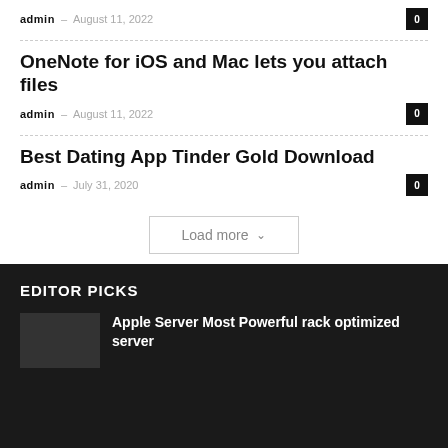admin – August 11, 2022
OneNote for iOS and Mac lets you attach files
admin – August 11, 2022
Best Dating App Tinder Gold Download
admin – July 31, 2020
Load more
EDITOR PICKS
Apple Server Most Powerful rack optimized server